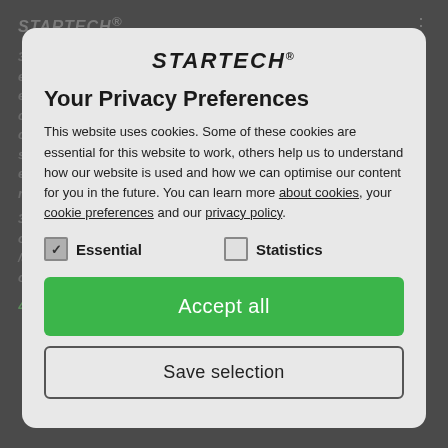[Figure (screenshot): Startech website privacy preferences cookie consent modal dialog over a partially visible legal/terms page background]
Your Privacy Preferences
This website uses cookies. Some of these cookies are essential for this website to work, others help us to understand how our website is used and how we can optimise our content for you in the future. You can learn more about cookies, your cookie preferences and our privacy policy.
Essential (checked)
Statistics (unchecked)
Accept all
Save selection
4. Terms of payment